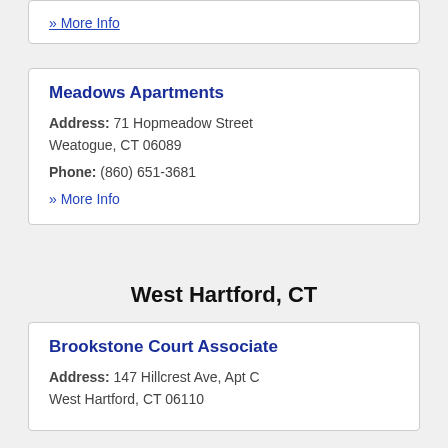» More Info
Meadows Apartments
Address: 71 Hopmeadow Street Weatogue, CT 06089
Phone: (860) 651-3681
» More Info
West Hartford, CT
Brookstone Court Associate
Address: 147 Hillcrest Ave, Apt C West Hartford, CT 06110